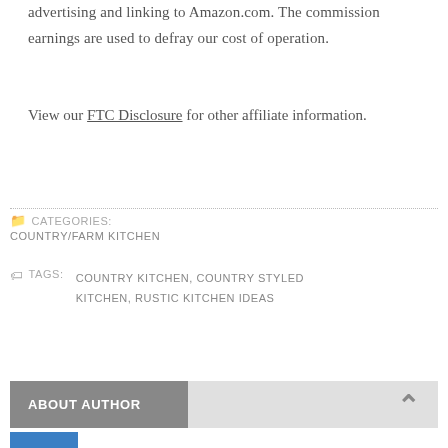advertising and linking to Amazon.com. The commission earnings are used to defray our cost of operation.
View our FTC Disclosure for other affiliate information.
CATEGORIES: COUNTRY/FARM KITCHEN
TAGS: COUNTRY KITCHEN, COUNTRY STYLED KITCHEN, RUSTIC KITCHEN IDEAS
ABOUT AUTHOR
Krayton M